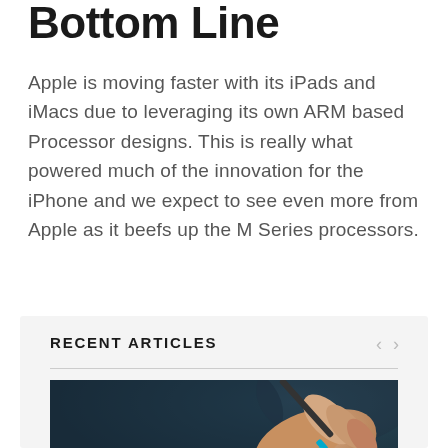Bottom Line
Apple is moving faster with its iPads and iMacs due to leveraging its own ARM based Processor designs. This is really what powered much of the innovation for the iPhone and we expect to see even more from Apple as it beefs up the M Series processors.
RECENT ARTICLES
[Figure (photo): A hand holding a stylus or pen against a dark teal/navy background, with a light blue tip visible on the stylus.]